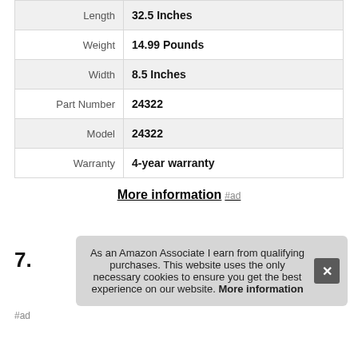| Attribute | Value |
| --- | --- |
| Length | 32.5 Inches |
| Weight | 14.99 Pounds |
| Width | 8.5 Inches |
| Part Number | 24322 |
| Model | 24322 |
| Warranty | 4-year warranty |
More information #ad
7.
#ad
As an Amazon Associate I earn from qualifying purchases. This website uses the only necessary cookies to ensure you get the best experience on our website. More information